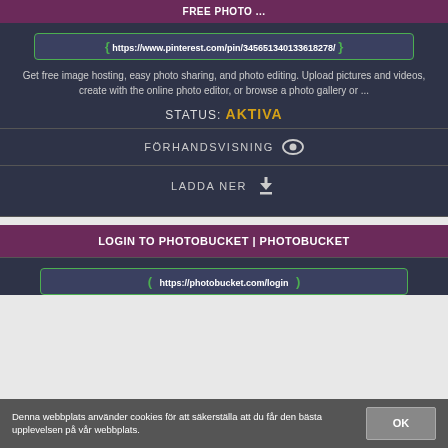FREE PHOTO ...
https://www.pinterest.com/pin/345651340133618278/
Get free image hosting, easy photo sharing, and photo editing. Upload pictures and videos, create with the online photo editor, or browse a photo gallery or ...
STATUS: AKTIVA
FÖRHANDSVISNING
LADDA NER
LOGIN TO PHOTOBUCKET | PHOTOBUCKET
https://photobucket.com/login
Denna webbplats använder cookies för att säkerställa att du får den bästa upplevelsen på vår webbplats.